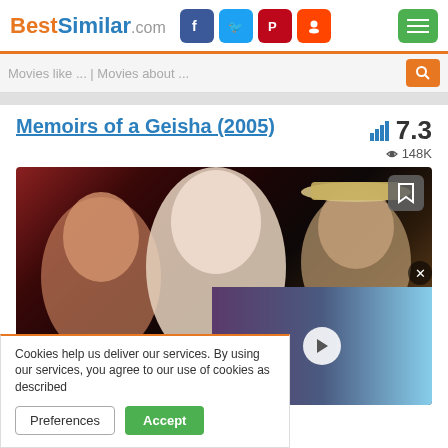BestSimilar.com
Movies like ... | Movies about ...
Memoirs of a Geisha (2005)
7.3  148K
[Figure (photo): Movie poster/banner for Memoirs of a Geisha (2005) showing actors' faces with a video overlay thumbnail]
Cookies help us deliver our services. By using our services, you agree to our use of cookies as described in our Cookie Policy.
Preferences  Accept